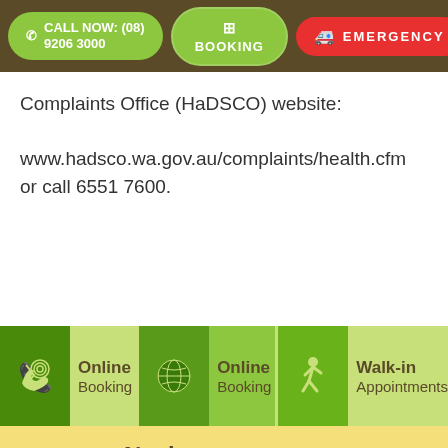CALL NOW: (08) 9206 3000 | BOOKING | EMERGENCY
Complaints Office (HaDSCO) website: www.hadsco.wa.gov.au/complaints/health.cfm or call 6551 7600.
[Figure (infographic): Footer row with three icon cells: phone icon with 'Online Booking', globe icon with 'Online Booking', walking person icon with 'Walk-in Appointments']
Navigate